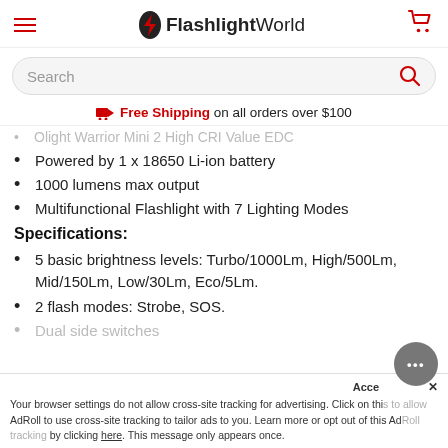FlashlightWorld
Search
Free Shipping on all orders over $100
Powered by 1 x 18650 Li-ion battery
1000 lumens max output
Multifunctional Flashlight with 7 Lighting Modes
Specifications:
5 basic brightness levels: Turbo/1000Lm, High/500Lm, Mid/150Lm, Low/30Lm, Eco/5Lm.
2 flash modes: Strobe, SOS.
Dual side switches
Accessibility ... x
Your browser settings do not allow cross-site tracking for advertising. Click on this to allow AdRoll to use cross-site tracking to tailor ads to you. Learn more or opt out of this AdRoll tracking by clicking here. This message only appears once.